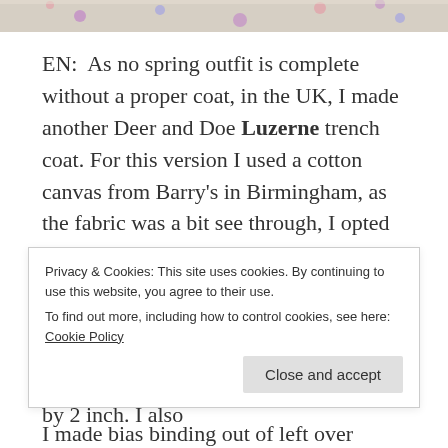[Figure (photo): Top portion of a photo showing polka-dot fabric or ceramic with multicolored dots on a light background, cropped at the top of the page]
EN:  As no spring outfit is complete without a proper coat, in the UK, I made another Deer and Doe Luzerne trench coat. For this version I used a cotton canvas from Barry's in Birmingham, as the fabric was a bit see through, I opted to interline it was an interfacing meant for wool coats. The interlining made the fabric drape really nicely and it also made it opaque, WIN-WIN. I cut a straight size 40 and lengthened the skirt by 2 inch. I also
Privacy & Cookies: This site uses cookies. By continuing to use this website, you agree to their use.
To find out more, including how to control cookies, see here: Cookie Policy
I made bias binding out of left over Liberty I had in